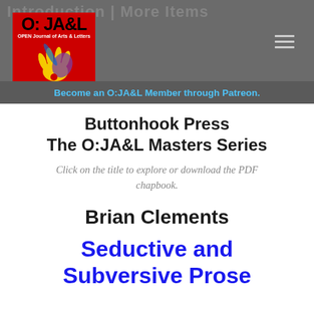O:JA&L — OPEN Journal of Arts & Letters — Become an O:JA&L Member through Patreon.
Buttonhook Press
The O:JA&L Masters Series
Click on the title to explore or download the PDF chapbook.
Brian Clements
Seductive and Subversive Prose